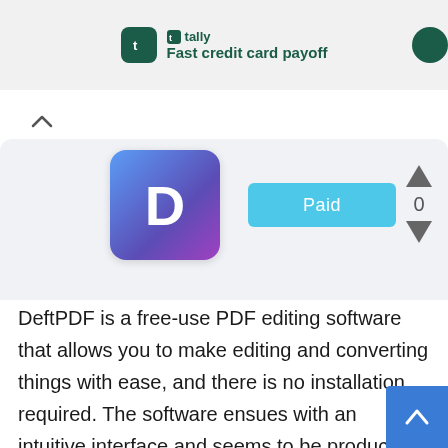[Figure (screenshot): Tally app advertisement banner with logo and tagline 'Fast credit card payoff']
[Figure (screenshot): DeftPDF app listing card with gradient D logo icon, Paid badge, and vote controls showing 0]
DeftPDF is a free-use PDF editing software that allows you to make editing and converting things with ease, and there is no installation required. The software ensues with an intuitive interface and seems to be productive when it comes to converting files from to any other format. DeftPDF provides you an online